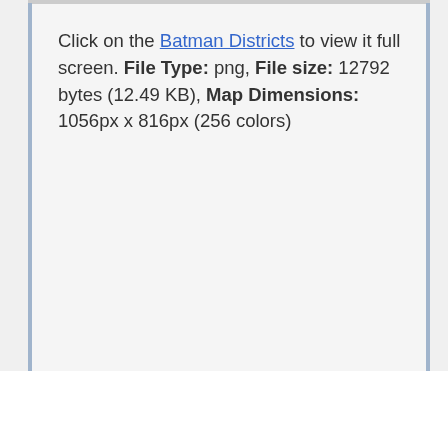Click on the Batman Districts to view it full screen. File Type: png, File size: 12792 bytes (12.49 KB), Map Dimensions: 1056px x 816px (256 colors)